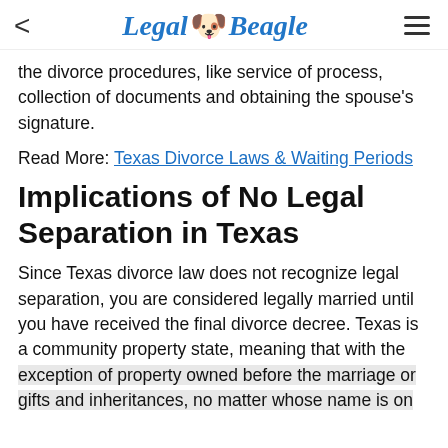Legal Beagle
the divorce procedures, like service of process, collection of documents and obtaining the spouse's signature.
Read More: Texas Divorce Laws & Waiting Periods
Implications of No Legal Separation in Texas
Since Texas divorce law does not recognize legal separation, you are considered legally married until you have received the final divorce decree. Texas is a community property state, meaning that with the exception of property owned before the marriage or gifts and inheritances, no matter whose name is on